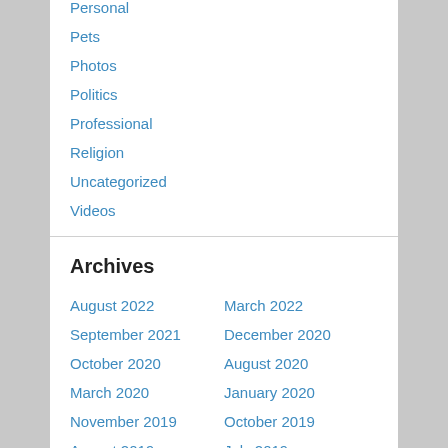Personal
Pets
Photos
Politics
Professional
Religion
Uncategorized
Videos
Archives
August 2022
March 2022
September 2021
December 2020
October 2020
August 2020
March 2020
January 2020
November 2019
October 2019
August 2019
July 2019
May 2019
April 2019
March 2019
January 2019